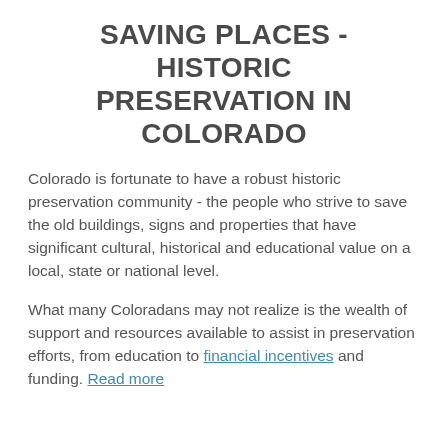SAVING PLACES - HISTORIC PRESERVATION IN COLORADO
Colorado is fortunate to have a robust historic preservation community - the people who strive to save the old buildings, signs and properties that have significant cultural, historical and educational value on a local, state or national level.
What many Coloradans may not realize is the wealth of support and resources available to assist in preservation efforts, from education to financial incentives and funding. Read more